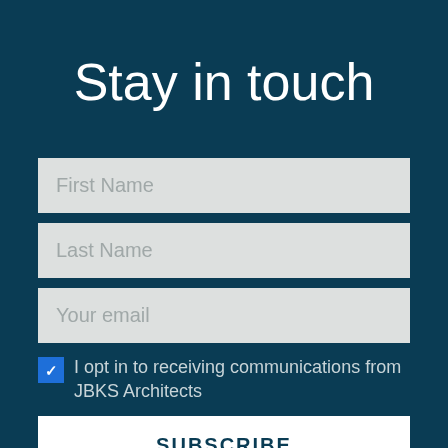Stay in touch
First Name
Last Name
Your email
I opt in to receiving communications from JBKS Architects
SUBSCRIBE